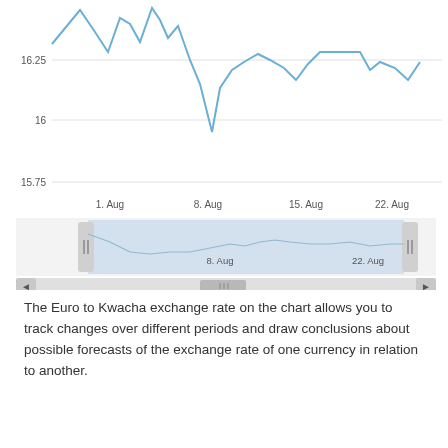[Figure (continuous-plot): Euro to Kwacha exchange rate line chart showing values between approximately 15.75 and above 16.25 from 1. Aug to 22. Aug, with a navigator/range selector panel below showing the same data with handles at left and right ends. X-axis labels: 1. Aug, 8. Aug, 15. Aug, 22. Aug. Y-axis labels: 16.25, 16, 15.75.]
The Euro to Kwacha exchange rate on the chart allows you to track changes over different periods and draw conclusions about possible forecasts of the exchange rate of one currency in relation to another.